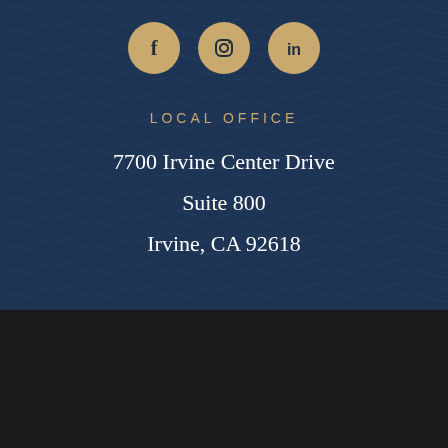[Figure (illustration): Three social media icons (Facebook, Instagram, LinkedIn) displayed as gold/tan circles on a dark navy wave-patterned background]
LOCAL OFFICE
7700 Irvine Center Drive
Suite 800
Irvine, CA 92618
The information on this website is for general information purposes only. Nothing on this site should be taken as legal advice for any individual case or situation. This information is not intended to create, and receipt or viewing does not constitute, an attorney-client relationship.